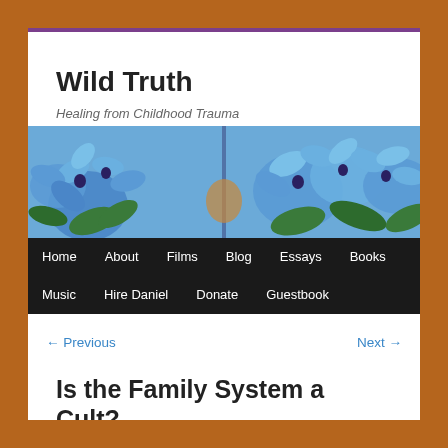Wild Truth
Healing from Childhood Trauma
[Figure (photo): Close-up photo of blue flowers (hyacinths or scilla) with green leaves, used as a website header image]
Home  About  Films  Blog  Essays  Books  Music  Hire Daniel  Donate  Guestbook
← Previous    Next →
Is the Family System a Cult?
Posted on December 19, 2017